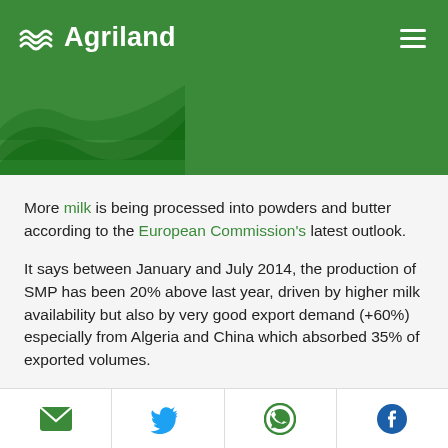Agriland
More milk is being processed into powders and butter according to the European Commission's latest outlook.
It says between January and July 2014, the production of SMP has been 20% above last year, driven by higher milk availability but also by very good export demand (+60%) especially from Algeria and China which absorbed 35% of exported volumes.
Social share icons: email, Twitter, WhatsApp, Facebook